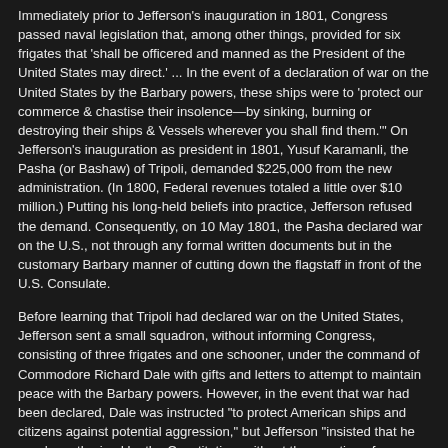Immediately prior to Jefferson's inauguration in 1801, Congress passed naval legislation that, among other things, provided for six frigates that 'shall be officered and manned as the President of the United States may direct.' ... In the event of a declaration of war on the United States by the Barbary powers, these ships were to 'protect our commerce & chastise their insolence—by sinking, burning or destroying their ships & Vessels wherever you shall find them.'' On Jefferson's inauguration as president in 1801, Yusuf Karamanli, the Pasha (or Bashaw) of Tripoli, demanded $225,000 from the new administration. (In 1800, Federal revenues totaled a little over $10 million.) Putting his long-held beliefs into practice, Jefferson refused the demand. Consequently, on 10 May 1801, the Pasha declared war on the U.S., not through any formal written documents but in the customary Barbary manner of cutting down the flagstaff in front of the U.S. Consulate.
Before learning that Tripoli had declared war on the United States, Jefferson sent a small squadron, without informing Congress, consisting of three frigates and one schooner, under the command of Commodore Richard Dale with gifts and letters to attempt to maintain peace with the Barbary powers. However, in the event that war had been declared, Dale was instructed "to protect American ships and citizens against potential aggression," but Jefferson "insisted that he was 'unauthorized by the Constitution, without the sanction of Congress, to go beyond the line of defense.'"
He told Congress: "I communicate [to you] all material information on this subject, that in the exercise of this important function confided by the Constitution to the Legislature exclusively their judgment may form itself on a knowledge and consideration of every circumstance of weight."
Although Congress never voted on a formal declaration of war, they did authorize the President to instruct the commanders of armed American vessels to seize all vessels and